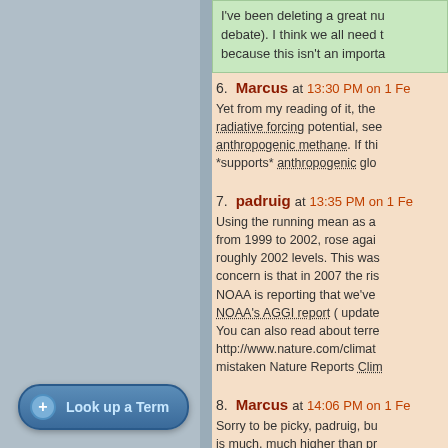I've been deleting a great nu debate). I think we all need t because this isn't an importa
6. Marcus at 13:30 PM on 1 Fe
Yet from my reading of it, the radiative forcing potential, see anthropogenic methane. If thi *supports* anthropogenic glo
7. padruig at 13:35 PM on 1 Fe
Using the running mean as a from 1999 to 2002, rose agai roughly 2002 levels. This was concern is that in 2007 the ris NOAA is reporting that we've NOAA's AGGI report ( update You can also read about terre http://www.nature.com/climat mistaken Nature Reports Clim
8. Marcus at 14:06 PM on 1 Fe
Sorry to be picky, padruig, bu is much, much higher than pr
Look up a Term